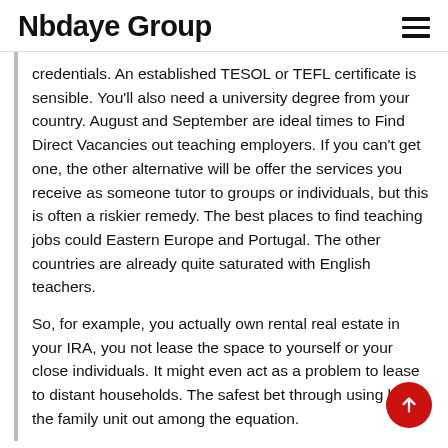Nbdaye Group
credentials. An established TESOL or TEFL certificate is sensible. You'll also need a university degree from your country. August and September are ideal times to Find Direct Vacancies out teaching employers. If you can't get one, the other alternative will be offer the services you receive as someone tutor to groups or individuals, but this is often a riskier remedy. The best places to find teaching jobs could Eastern Europe and Portugal. The other countries are already quite saturated with English teachers.
So, for example, you actually own rental real estate in your IRA, you not lease the space to yourself or your close individuals. It might even act as a problem to lease to distant households. The safest bet through using leave the family unit out among the equation.